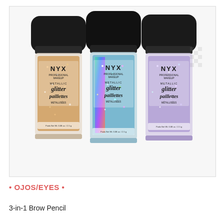[Figure (photo): Three NYX Professional Makeup Metallic Glitter Paillettes containers with black lids, showing rose gold/bronze, holographic blue-green, and iridescent lavender glitter varieties. Each container shows the NYX logo and 'glitter paillettes' / 'METALLISÉES' text. Weight: 0.08 oz / 2.5g.]
• OJOS/EYES •
3-in-1 Brow Pencil